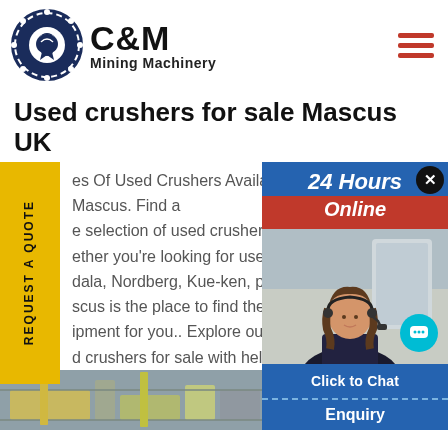[Figure (logo): C&M Mining Machinery logo with eagle/gear icon in dark navy and black text]
Used crushers for sale Mascus UK
Types Of Used Crushers Available At Mascus. Find a large selection of used crushers for sale. Whether you're looking for used crushers from Sandela, Nordberg, Kue-ken, peters... Mascus is the place to find the perfect second-hand equipment for you.. Explore our range of used crushers for sale with help from our search engine.
[Figure (screenshot): Chat widget overlay showing 24 Hours Online banner in blue and red, female customer service agent with headset, Click to Chat button, and Enquiry section]